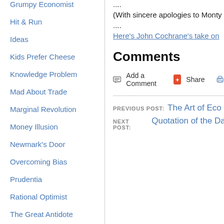Grumpy Economist
Hit & Run
Ideas
Kids Prefer Cheese
Knowledge Problem
Mad About Trade
Marginal Revolution
Money Illusion
Newmark's Door
Overcoming Bias
Prudentia
Rational Optimist
The Great Antidote
The Sports Economist
ThinkMarkets
Tim Worstall
.....
(With sincere apologies to Monty
....
Here's John Cochrane's take on
Comments
Add a Comment  Share
PREVIOUS POST:  The Art of Eco
NEXT POST:  Quotation of the Da